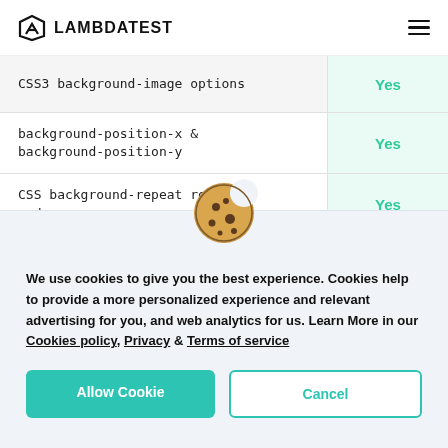LAMBDATEST
| Feature | Support |
| --- | --- |
| CSS3 background-image options | Yes |
| background-position-x & background-position-y | Yes |
| CSS background-repeat round and space | Yes |
| CSS3 Border-radius (rounded |  |
[Figure (illustration): Cookie emoji icon]
We use cookies to give you the best experience. Cookies help to provide a more personalized experience and relevant advertising for you, and web analytics for us. Learn More in our Cookies policy, Privacy & Terms of service
Allow Cookie | Cancel